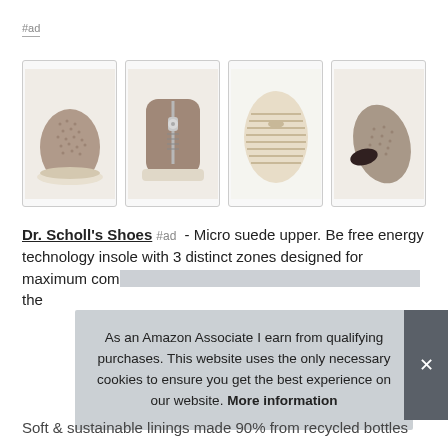#ad
[Figure (photo): Four product images of Dr. Scholl's shoes: front-side view showing textured suede upper, back view with zipper, bottom sole view, and top-down view.]
Dr. Scholl's Shoes #ad - Micro suede upper. Be free energy technology insole with 3 distinct zones designed for maximum comfort. Supportive cushioned platform that keeps you comfortable the
As an Amazon Associate I earn from qualifying purchases. This website uses the only necessary cookies to ensure you get the best experience on our website. More information
Soft & sustainable linings made 90% from recycled bottles